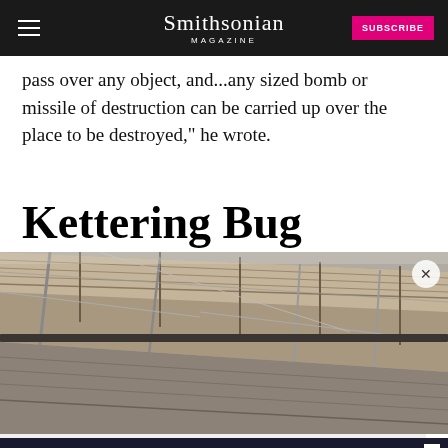Smithsonian MAGAZINE | SUBSCRIBE
pass over any object, and...any sized bomb or missile of destruction can be carried up over the place to be destroyed," he wrote.
Kettering Bug
[Figure (photo): Black and white photograph of the Kettering Bug aerial torpedo, showing close-up of wooden wing panels and metal frame structure]
Report an ad
[Figure (infographic): Disney Bundle advertisement banner showing Hulu, Disney+, and ESPN+ logos with 'GET THE DISNEY BUNDLE' call to action. Fine print: Incl. Hulu (ad-supported) or Hulu (No Ads). Access content from each service separately. ©2021 Disney and its related entities.]